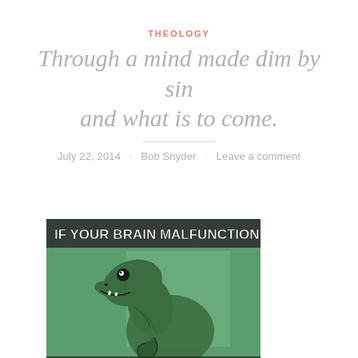THEOLOGY
Through a mind made dim by sin and what is to come.
July 22, 2014 · Bob Snyder · Leave a comment
[Figure (illustration): Philosoraptor meme image: a green velociraptor dinosaur on a green background with text 'IF YOUR BRAIN MALFUNCTION' at the top and 'WILL YOU KNOW YOUR BRAIN MALFUNCTION?' at the bottom.]